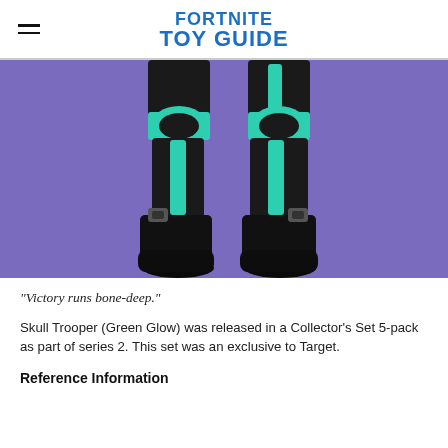FORTNITE TOY GUIDE
[Figure (photo): Close-up photo of a Fortnite Skull Trooper (Green Glow) action figure legs from the knees down, showing black armor with teal/green accents on knee pads and shin guards, large black boots with gray ankle hardware, against a purple background.]
"Victory runs bone-deep."
Skull Trooper (Green Glow) was released in a Collector's Set 5-pack as part of series 2. This set was an exclusive to Target.
Reference Information